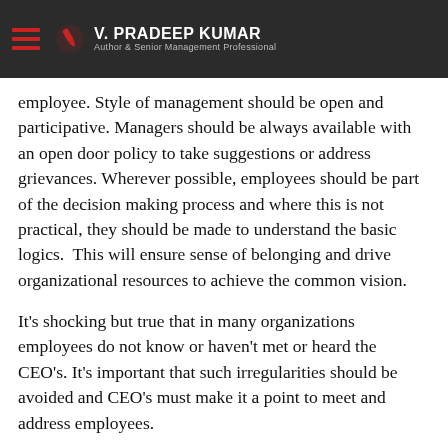V. PRADEEP KUMAR — Author & Senior Management Professional
employee. Style of management should be open and participative. Managers should be always available with an open door policy to take suggestions or address grievances. Wherever possible, employees should be part of the decision making process and where this is not practical, they should be made to understand the basic logics.  This will ensure sense of belonging and drive organizational resources to achieve the common vision.
It's shocking but true that in many organizations employees do not know or haven't met or heard the CEO's. It's important that such irregularities should be avoided and CEO's must make it a point to meet and address employees.
Innovate